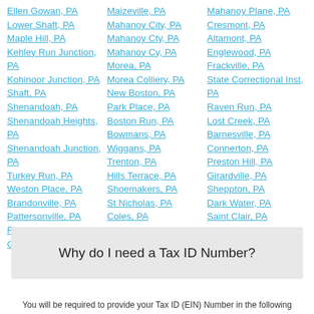Ellen Gowan, PA
Lower Shaft, PA
Maple Hill, PA
Kehley Run Junction, PA
Kohinoor Junction, PA
Shaft, PA
Shenandoah, PA
Shenandoah Heights, PA
Shenandoah Junction, PA
Turkey Run, PA
Weston Place, PA
Brandonville, PA
Pattersonville, PA
Ringtown, PA
Gilberton, PA
Maizeville, PA
Mahanoy City, PA
Mahanoy Cty, PA
Mahanoy Cy, PA
Morea, PA
Morea Colliery, PA
New Boston, PA
Park Place, PA
Boston Run, PA
Bowmans, PA
Wiggans, PA
Trenton, PA
Hills Terrace, PA
Shoemakers, PA
St Nicholas, PA
Coles, PA
Craigs, PA
Mahanoy Plane, PA
Cresmont, PA
Altamont, PA
Englewood, PA
Frackville, PA
State Correctional Inst, PA
Raven Run, PA
Lost Creek, PA
Barnesville, PA
Connerton, PA
Preston Hill, PA
Girardville, PA
Sheppton, PA
Dark Water, PA
Saint Clair, PA
Arnots Addition, PA
Why do I need a Tax ID Number?
You will be required to provide your Tax ID (EIN) Number in the following